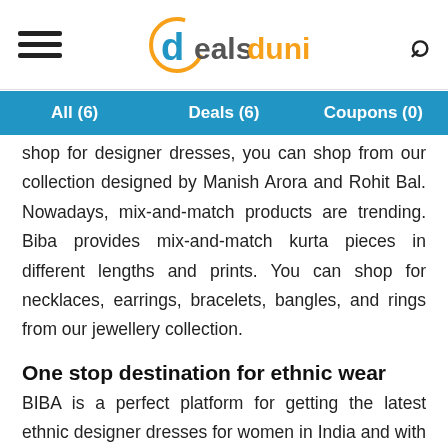dealsdunia
All (6)   Deals (6)   Coupons (0)
shop for designer dresses, you can shop from our collection designed by Manish Arora and Rohit Bal. Nowadays, mix-and-match products are trending. Biba provides mix-and-match kurta pieces in different lengths and prints. You can shop for necklaces, earrings, bracelets, bangles, and rings from our jewellery collection.
One stop destination for ethnic wear
BIBA is a perfect platform for getting the latest ethnic designer dresses for women in India and with a wide range of summer, winter collections at the beginning of every season with friendly prints inspired from flowers of the world combined with the most beautiful classical designs and trendiest patterns with unique color combinations. At BIBA it is easy to choose garments as per your needs and occasion from huge ethnic dresses